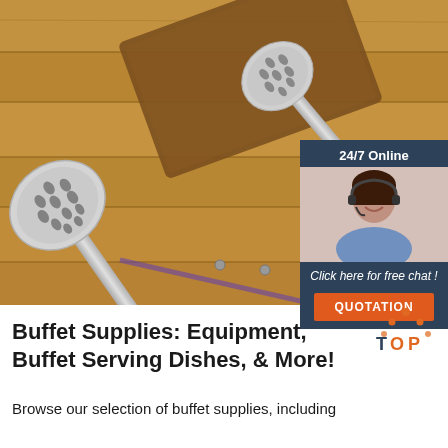[Figure (photo): Overhead photo of two stainless steel slotted spoons/skimmers resting on a wooden surface and wooden cutting board. An overlay widget in the top-right shows a customer service agent with headset, labeled '24/7 Online', 'Click here for free chat!' and an orange 'QUOTATION' button.]
[Figure (logo): TOP logo with orange dots forming a triangle above the word TOP in orange/dark text]
Buffet Supplies: Equipment, Buffet Serving Dishes, & More!
Browse our selection of buffet supplies, including